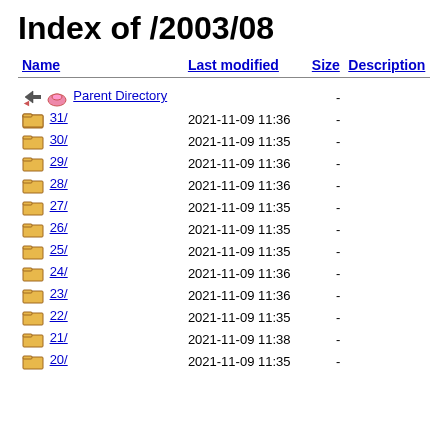Index of /2003/08
| Name | Last modified | Size | Description |
| --- | --- | --- | --- |
| Parent Directory |  | - |  |
| 31/ | 2021-11-09 11:36 | - |  |
| 30/ | 2021-11-09 11:35 | - |  |
| 29/ | 2021-11-09 11:36 | - |  |
| 28/ | 2021-11-09 11:36 | - |  |
| 27/ | 2021-11-09 11:35 | - |  |
| 26/ | 2021-11-09 11:35 | - |  |
| 25/ | 2021-11-09 11:35 | - |  |
| 24/ | 2021-11-09 11:36 | - |  |
| 23/ | 2021-11-09 11:36 | - |  |
| 22/ | 2021-11-09 11:35 | - |  |
| 21/ | 2021-11-09 11:38 | - |  |
| 20/ | 2021-11-09 11:35 | - |  |